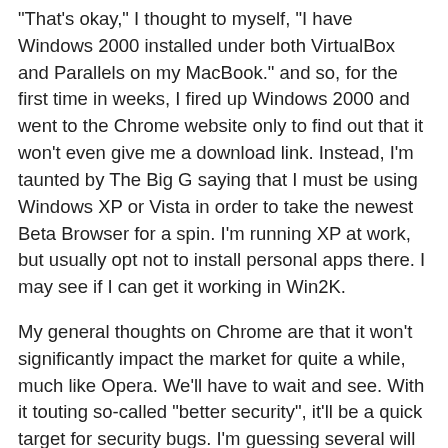"That's okay," I thought to myself, "I have Windows 2000 installed under both VirtualBox and Parallels on my MacBook." and so, for the first time in weeks, I fired up Windows 2000 and went to the Chrome website only to find out that it won't even give me a download link. Instead, I'm taunted by The Big G saying that I must be using Windows XP or Vista in order to take the newest Beta Browser for a spin. I'm running XP at work, but usually opt not to install personal apps there. I may see if I can get it working in Win2K.
My general thoughts on Chrome are that it won't significantly impact the market for quite a while, much like Opera. We'll have to wait and see. With it touting so-called "better security", it'll be a quick target for security bugs. I'm guessing several will be found.
I don't think the security-conscious folks will use it as a primary browser. Firefox has been on the market for a very long time and is a favorite among almost all of the Info-Sec professionals I know in person. Some of this is because of the various extensions such as NoScript and Firebug.